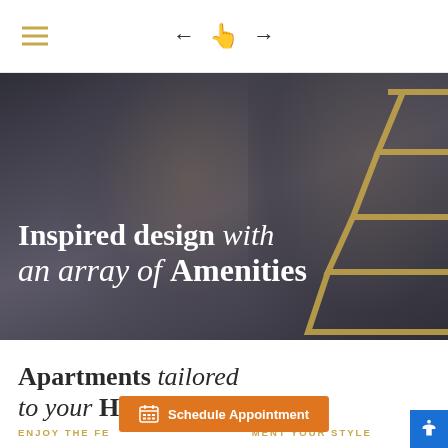Navigation header with hamburger menu and navigation arrows
[Figure (photo): A smiling couple (man and woman) shown in a dark/desaturated photo with gold geometric angular lines overlaid on the right side. Text overlay reads: Inspired design with an array of Amenities]
Inspired design with an array of Amenities
Apartments tailored to your Highest Standards
ENJOY THE FEATURES THAT COMPLIMENT YOUR STYLE
Schedule Appointment